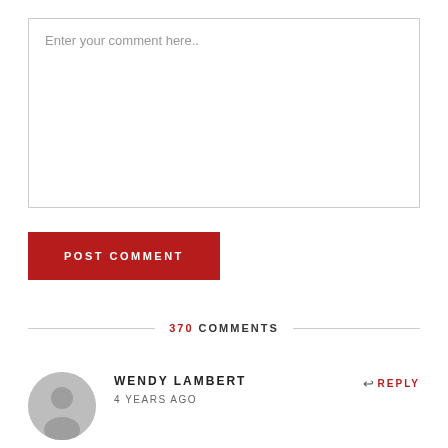Enter your comment here..
POST COMMENT
370 COMMENTS
WENDY LAMBERT
4 YEARS AGO
↩ REPLY